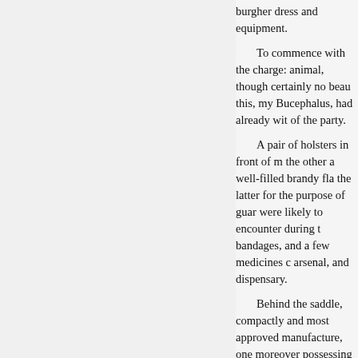burgher dress and equipment.
To commence with the charge: animal, though certainly no beau this, my Bucephalus, had already wit of the party.
A pair of holsters in front of m the other a well-filled brandy fla the latter for the purpose of guar were likely to encounter during t bandages, and a few medicines c arsenal, and dispensary.
Behind the saddle, compactly and most approved manufacture, one moreover possessing an infi to be damped; the saddle itself w
In this “musquito” war, as the beard and moustache were in ou protection to the face, against the inconveniences often combined i
+ It is needless to observe that ensuing narrative are fictitious.